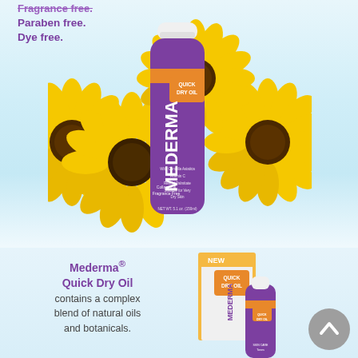Fragrance free. Paraben free. Dye free.
[Figure (photo): Mederma Quick Dry Oil purple bottle surrounded by sunflowers on light blue background]
Mederma® Quick Dry Oil contains a complex blend of natural oils and botanicals.
[Figure (photo): Mederma Quick Dry Oil product box and bottle, labeled NEW, on light blue background]
[Figure (other): Gray circular scroll-to-top button with upward chevron arrow]